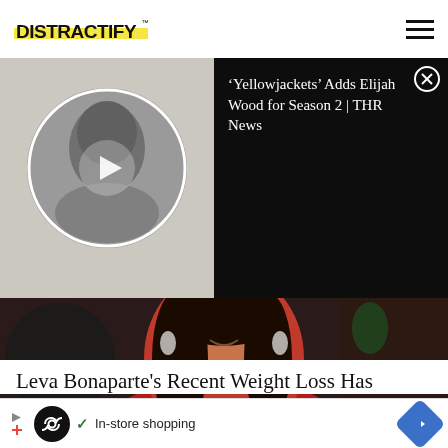[Figure (logo): Distractify logo with yellow underline highlight]
[Figure (screenshot): Video thumbnail showing a man in black and white with a circular crop and play button, beside a dark panel reading 'Yellowjackets Adds Elijah Wood for Season 2 | THR News' with a close button]
[Figure (photo): Woman in red dress with dark hair and chandelier earrings seated in a chair, smiling, in a studio setting]
REALITY TV
Leva Bonaparte's Recent Weight Loss Has
[Figure (infographic): Advertisement bar with infinity loop icon, checkmark, 'In-store shopping' text and blue arrow navigation button]